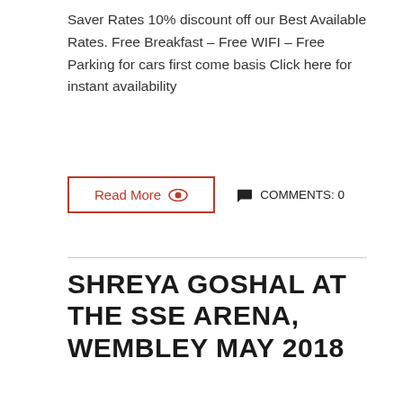Saver Rates 10% discount off our Best Available Rates. Free Breakfast – Free WIFI – Free Parking for cars first come basis Click here for instant availability
Read More  🔴  COMMENTS: 0
SHREYA GOSHAL AT THE SSE ARENA, WEMBLEY MAY 2018